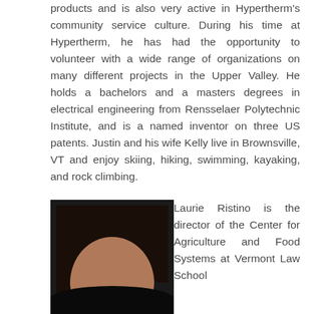products and is also very active in Hypertherm's community service culture. During his time at Hypertherm, he has had the opportunity to volunteer with a wide range of organizations on many different projects in the Upper Valley. He holds a bachelors and a masters degrees in electrical engineering from Rensselaer Polytechnic Institute, and is a named inventor on three US patents. Justin and his wife Kelly live in Brownsville, VT and enjoy skiing, hiking, swimming, kayaking, and rock climbing.
[Figure (photo): Headshot photo of Laurie Ristino, a woman with dark hair, against a dark background]
Laurie Ristino is the director of the Center for Agriculture and Food Systems at Vermont Law School